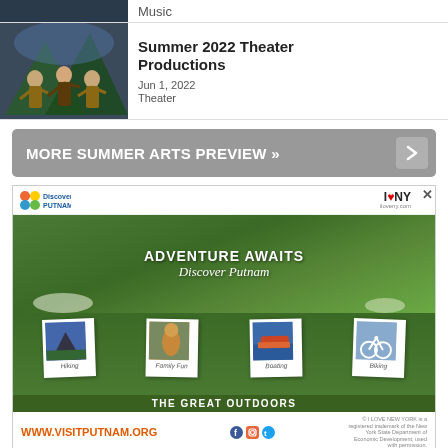[Figure (photo): Theater production photo showing performer in costume on stage with scenic background]
Summer 2022 Theater Productions
Jun 1, 2022
Theater
MORE SUMMER ARTS PREVIEW »
[Figure (photo): Discover Putnam advertisement - Adventure Awaits, Discover Putnam, The Great Outdoors with photos of Hiking, Family Fun, Boating, Biking. Visit www.visitputnam.org]